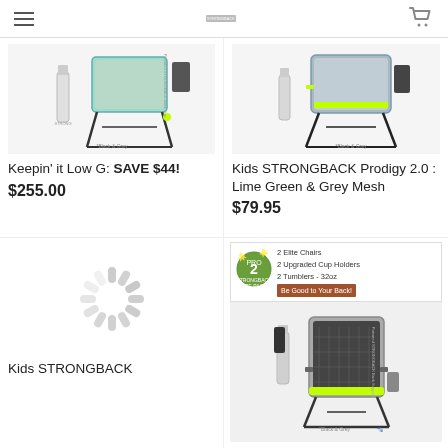Navigation header with hamburger menu, logo, and cart icon
[Figure (photo): STRONGBACK low camping chair product image showing black and grey folding chair with accessories. Caption reads *Black & Grey.]
Keepin' it Low G: SAVE $44!
$255.00
[Figure (photo): Kids STRONGBACK Prodigy 2.0 chair in Lime Green & Grey Mesh color.]
Kids STRONGBACK Prodigy 2.0 : Lime Green & Grey Mesh
$79.95
[Figure (other): Loading spinner animation]
Kids STRONGBACK
[Figure (photo): STRONGBACK Elite Chair 2-pack product bundle showing: 2 Elite Chairs, 2 Upgraded Cup Holders, 2 Tumblers 32oz. Be Good to Your Back! Black & Grey color chairs with accessories shown.]